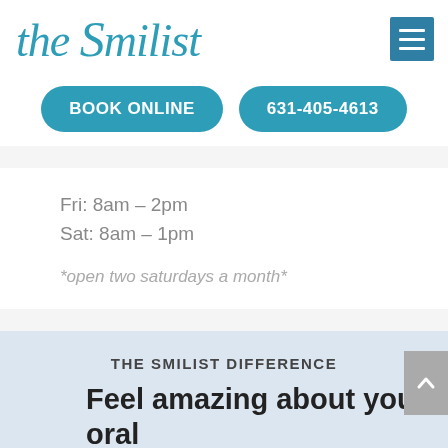the Smilist
BOOK ONLINE
631-405-4613
Fri: 8am – 2pm
Sat: 8am – 1pm
*open two saturdays a month*
THE SMILIST DIFFERENCE
Feel amazing about your oral health with the Smilist!
VIEW OFFER